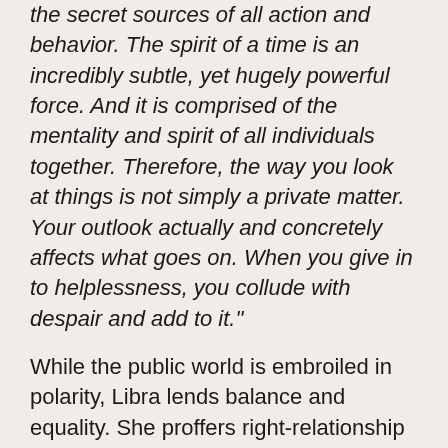the secret sources of all action and behavior. The spirit of a time is an incredibly subtle, yet hugely powerful force. And it is comprised of the mentality and spirit of all individuals together. Therefore, the way you look at things is not simply a private matter. Your outlook actually and concretely affects what goes on. When you give in to helplessness, you collude with despair and add to it."
While the public world is embroiled in polarity, Libra lends balance and equality. She proffers right-relationship and harmonious spirit, entwined in a laurel wreath that joins us.
May we harness her beauty and love for each other and trust that these Autumn winds will blow with divine justice, whether it's visible to our earthly eyes or not.